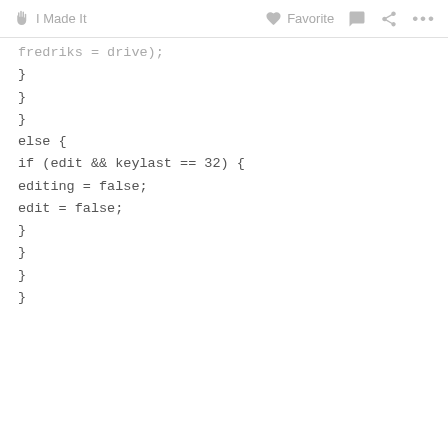✋ I Made It   ♡ Favorite  💬  ⋖  ···
fredriks = drive;
}
}
}
else {
if (edit && keylast == 32) {
editing = false;
edit = false;
}
}
}
}